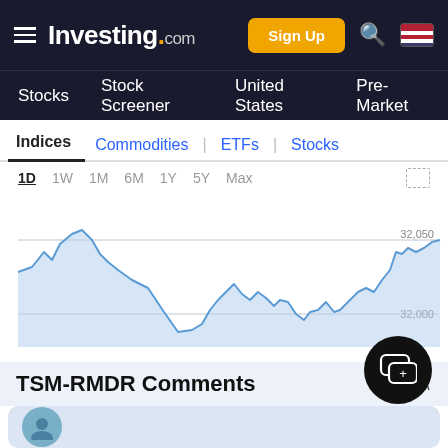Investing.com — Sign Up | Stocks | Stock Screener | United States | Pre-Market
Indices | Commodities | ETFs | Stocks
[Figure (continuous-plot): Intraday line chart for TSM-RMDR showing price oscillations with area fill. Y-axis labels: 32,050 and 32,000. Time range buttons: 1D (active), 1W, 1M, 6M, 1Y, 5Y, Max.]
TSM-RMDR Comments